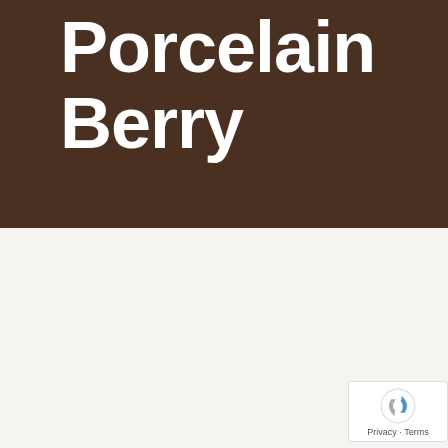Porcelain Berry
October 2, 2019
[Figure (photo): A cat and a dog peering over green leafy vines with small blue-purple berries (porcelain berry plant) against a white background]
[Figure (logo): Google reCAPTCHA badge with Privacy and Terms links]